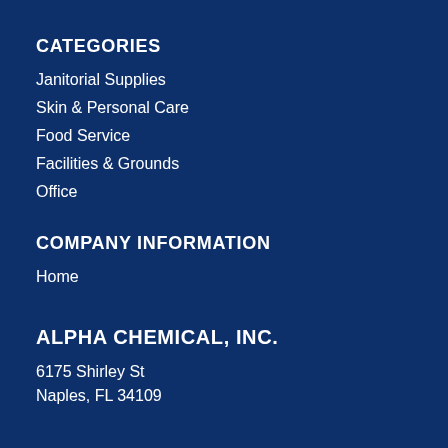CATEGORIES
Janitorial Supplies
Skin & Personal Care
Food Service
Facilities & Grounds
Office
COMPANY INFORMATION
Home
ALPHA CHEMICAL, INC.
6175 Shirley St
Naples, FL 34109